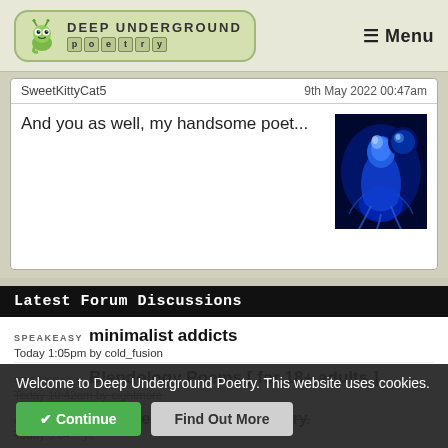[Figure (logo): Deep Underground Poetry website logo with worm mascot and stylized text]
≡ Menu
SweetKittyCat5
9th May 2022 00:47am
And you as well, my handsome poet...
[Figure (illustration): Blue stylized figure/jellyfish avatar image]
Latest Forum Discussions
SPEAKEASY  minimalist addicts
Today 1:05pm by cold_fusion
SPEAKEASY  Blendology Poems [ for 18+ adults ]
Today 10:42am by eightmore
POETRY  Stalked, because of your poetry.
Today 5:04... ye
SPEAKEASY  Would You Rather II
Welcome to Deep Underground Poetry. This website uses cookies.
✔ Continue
Find Out More